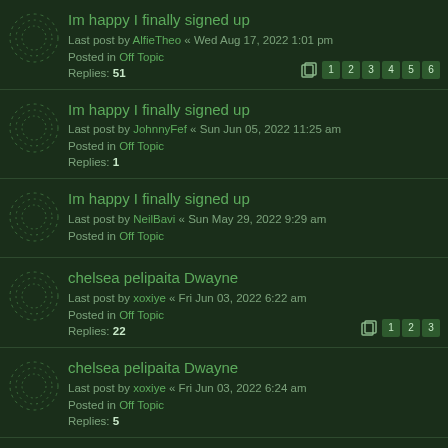Im happy I finally signed up
Last post by AlfieTheo « Wed Aug 17, 2022 1:01 pm
Posted in Off Topic
Replies: 51
Im happy I finally signed up
Last post by JohnnyFef « Sun Jun 05, 2022 11:25 am
Posted in Off Topic
Replies: 1
Im happy I finally signed up
Last post by NeilBavi « Sun May 29, 2022 9:29 am
Posted in Off Topic
chelsea pelipaita Dwayne
Last post by xoxiye « Fri Jun 03, 2022 6:22 am
Posted in Off Topic
Replies: 22
chelsea pelipaita Dwayne
Last post by xoxiye « Fri Jun 03, 2022 6:24 am
Posted in Off Topic
Replies: 5
chelsea pelipaita Dwayne
Last post by JohnnyFef « Wed Jun 01, 2022 11:20 am
Posted in Off Topic
Replies: 6